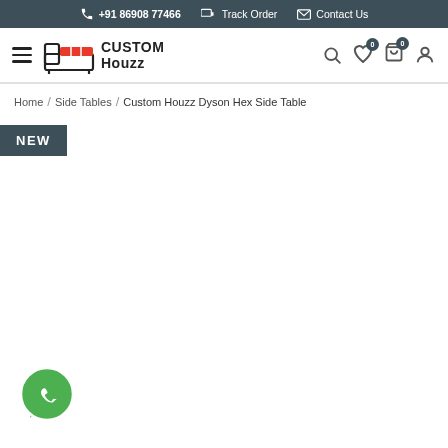+91 86908 77466  Track Order  Contact Us
[Figure (logo): Custom Houzz logo with bed icon and navigation icons including hamburger menu, search, wishlist, cart, and user account]
Home / Side Tables / Custom Houzz Dyson Hex Side Table
NEW
[Figure (illustration): WhatsApp floating button icon in green]